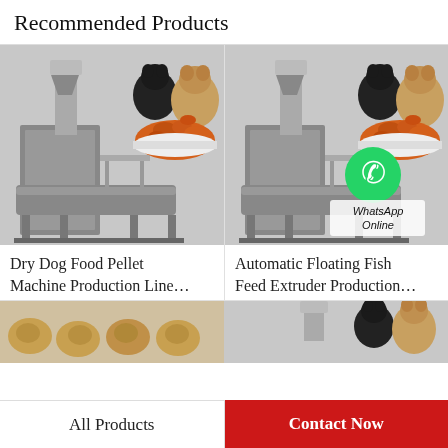Recommended Products
[Figure (photo): Industrial dry dog food pellet machine production line with stainless steel extruder; two pug dogs and pile of kibble in background]
Dry Dog Food Pellet Machine Production Line…
[Figure (photo): Automatic floating fish feed extruder production line machine, similar stainless steel industrial equipment; two pug dogs and kibble in background; WhatsApp Online badge overlaid]
Automatic Floating Fish Feed Extruder Production…
[Figure (photo): Partial bottom row showing left product with kibble pieces and right product with dogs and industrial equipment]
All Products
Contact Now